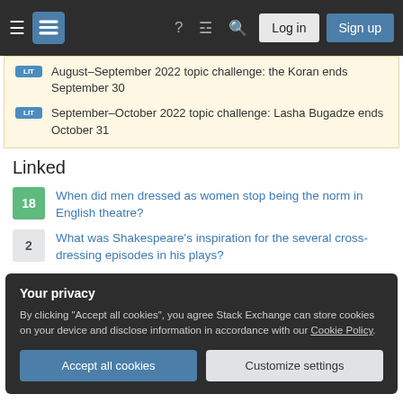Navigation bar with hamburger menu, logo, help, chat, search, Log in, Sign up
August–September 2022 topic challenge: the Koran ends September 30
September–October 2022 topic challenge: Lasha Bugadze ends October 31
Linked
18 – When did men dressed as women stop being the norm in English theatre?
2 – What was Shakespeare's inspiration for the several cross-dressing episodes in his plays?
Your privacy
By clicking "Accept all cookies", you agree Stack Exchange can store cookies on your device and disclose information in accordance with our Cookie Policy.
Accept all cookies | Customize settings
survived?